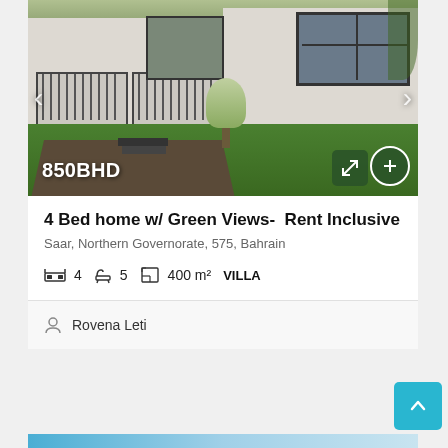[Figure (photo): Exterior photo of a white villa/house with large windows, dark railing on a porch, a small tree in front, green lawn, and a dark paved path. Navigation arrows on left and right sides.]
850BHD
4 Bed home w/ Green Views-  Rent Inclusive
Saar, Northern Governorate, 575, Bahrain
4   5   400 m²   VILLA
Rovena Leti